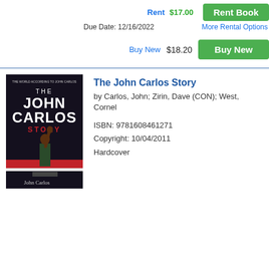Rent $17.00
Rent Book
Due Date: 12/16/2022
More Rental Options
Buy New $18.20
Buy New
[Figure (photo): Book cover of The John Carlos Story showing a man with raised fist on a podium, dark background with red and white stripe]
The John Carlos Story
by Carlos, John; Zirin, Dave (CON); West, Cornel
ISBN: 9781608461271
Copyright: 10/04/2011
Hardcover